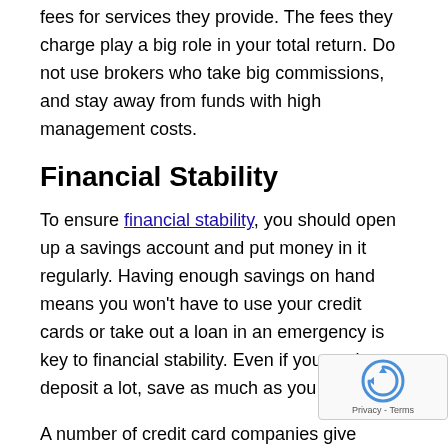fees for services they provide. The fees they charge play a big role in your total return. Do not use brokers who take big commissions, and stay away from funds with high management costs.
Financial Stability
To ensure financial stability, you should open up a savings account and put money in it regularly. Having enough savings on hand means you won't have to use your credit cards or take out a loan in an emergency is key to financial stability. Even if you can't deposit a lot, save as much as you can.
A number of credit card companies give rewards or discounted flight tickets to be redeemed from purchases for no additional charge. Your reward miles will constantly increase and are redeemable at some hotels for room discounts or airlines across the world.
Do not take on debt when you are trying to balance your personal finances. There are certain types of debt that you